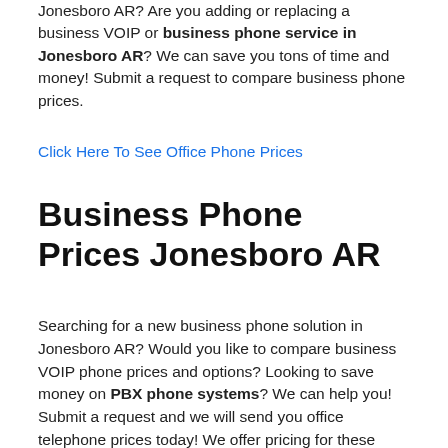Jonesboro AR? Are you adding or replacing a business VOIP or business phone service in Jonesboro AR? We can save you tons of time and money! Submit a request to compare business phone prices.
Click Here To See Office Phone Prices
Business Phone Prices Jonesboro AR
Searching for a new business phone solution in Jonesboro AR? Would you like to compare business VOIP phone prices and options? Looking to save money on PBX phone systems? We can help you! Submit a request and we will send you office telephone prices today! We offer pricing for these systems: